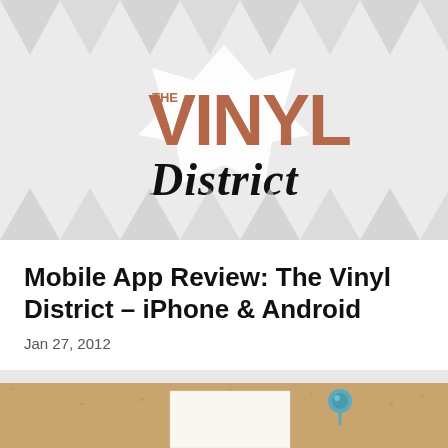[Figure (logo): The Vinyl District logo with brown/terracotta block letters 'VINYL' and cursive 'District' text on a light grey background with decorative triangle bunting shapes]
Mobile App Review: The Vinyl District – iPhone & Android
Jan 27, 2012
[Figure (photo): Cork bulletin board with a white note card pinned by a teal/blue thumbtack]